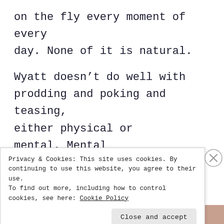on the fly every moment of every day. None of it is natural.

Wyatt doesn't do well with prodding and poking and teasing, either physical or mental. Mental bothers him more than physical, but either will send his mind sideways very quickly. And in
Privacy & Cookies: This site uses cookies. By continuing to use this website, you agree to their use.
To find out more, including how to control cookies, see here: Cookie Policy